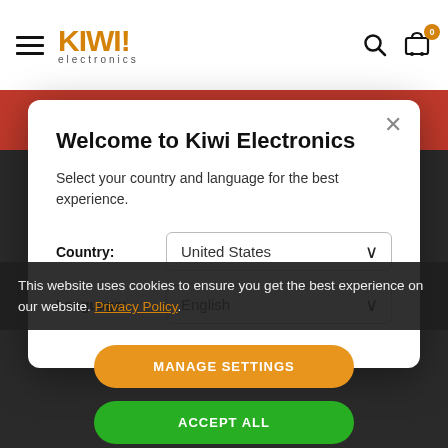[Figure (screenshot): Kiwi Electronics website navigation bar with hamburger menu, logo, search icon, and cart icon showing 0 items]
Welcome to Kiwi Electronics
Select your country and language for the best experience.
Country: United States
Language: English
This website uses cookies to ensure you get the best experience on our website. Privacy Policy
MANAGE SETTINGS
ACCEPT ALL